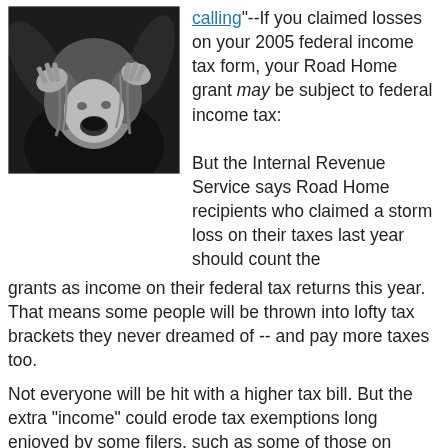[Figure (photo): Black and white photo of a woman in distress, hands raised to her head, mouth open as if crying or screaming.]
calling"--If you claimed losses on your 2005 federal income tax form, your Road Home grant may be subject to federal income tax:

But the Internal Revenue Service says Road Home recipients who claimed a storm loss on their taxes last year should count the grants as income on their federal tax returns this year. That means some people will be thrown into lofty tax brackets they never dreamed of -- and pay more taxes too.

Not everyone will be hit with a higher tax bill. But the extra "income" could erode tax exemptions long enjoyed by some filers, such as some of those on Social Security, and force them to pay a fee for the government's largesse. [Is "largesse"